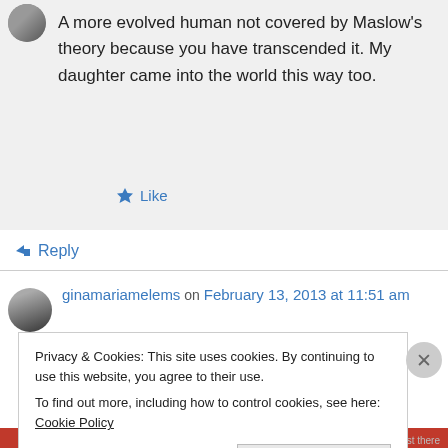A more evolved human not covered by Maslow's theory because you have transcended it. My daughter came into the world this way too.
Like
Reply
ginamariamelems on February 13, 2013 at 11:51 am
Privacy & Cookies: This site uses cookies. By continuing to use this website, you agree to their use. To find out more, including how to control cookies, see here: Cookie Policy
Close and accept